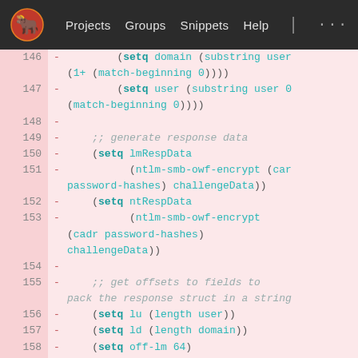Projects  Groups  Snippets  Help
[Figure (screenshot): Code diff viewer showing Lisp/Emacs Lisp code lines 146-158 with removed lines (red background). Lines show setq, match-beginning, lmRespData, ntlm-smb-owf-encrypt, password-hashes, challengeData, lu, ld, off-lm assignments.]